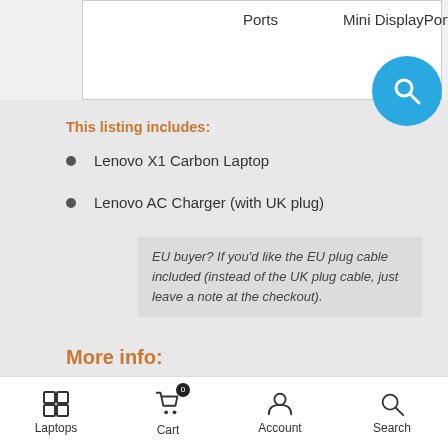| Ports | Mini DisplayPort™ |
| --- | --- |
This listing includes:
Lenovo X1 Carbon Laptop
Lenovo AC Charger (with UK plug)
EU buyer? If you'd like the EU plug cable included (instead of the UK plug cable, just leave a note at the checkout).
More info:
Laptops  Cart 0  Account  Search